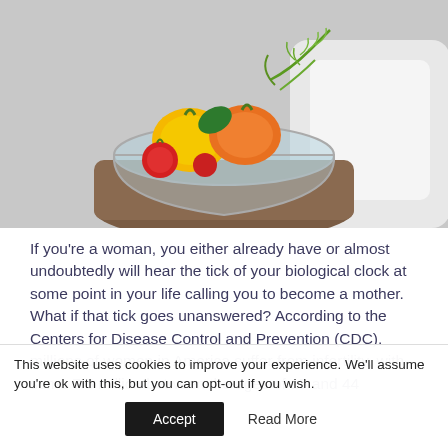[Figure (photo): Hands holding a glass bowl filled with colorful vegetables including orange/yellow bell peppers, red tomatoes, green herbs (dill), and other produce. A white kitchen appliance is visible in the background.]
If you're a woman, you either already have or almost undoubtedly will hear the tick of your biological clock at some point in your life calling you to become a mother. What if that tick goes unanswered? According to the Centers for Disease Control and Prevention (CDC), millions of women in America suffer from infertility, with some 7.5 million between the ages of 15 and 44
This website uses cookies to improve your experience. We'll assume you're ok with this, but you can opt-out if you wish.